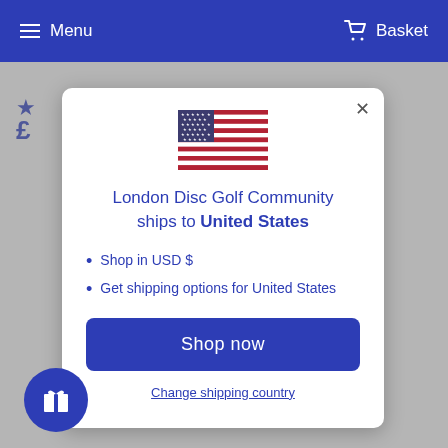Menu  Basket
[Figure (screenshot): US flag emoji displayed at top of modal dialog]
London Disc Golf Community ships to United States
Shop in USD $
Get shipping options for United States
Shop now
Change shipping country